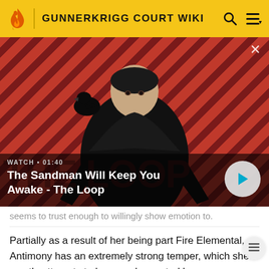GUNNERKRIGG COURT WIKI
[Figure (screenshot): Video thumbnail showing a dark-cloaked figure with a raven on their shoulder against a diagonal red and dark striped background. Text overlay reads WATCH • 01:40 and title The Sandman Will Keep You Awake - The Loop with a play button.]
seems to trust enough to willingly show emotion to.
Partially as a result of her being part Fire Elemental, Antimony has an extremely strong temper, which she mostly attempts to keep under control by never allowing herself to show emotion, something she very much has in